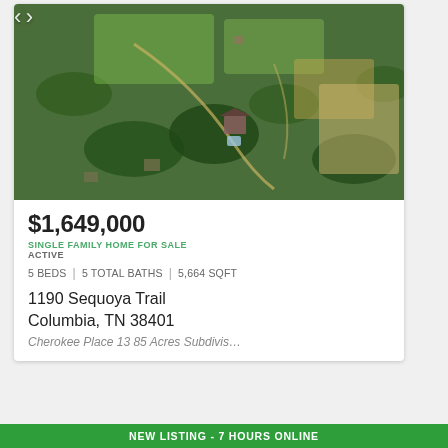[Figure (photo): Aerial drone photo of a rural property with large green fields, tree lines, a house surrounded by trees, and an agricultural landscape in Columbia, TN.]
$1,649,000
SINGLE FAMILY HOME FOR SALE
ACTIVE
5 BEDS | 5 TOTAL BATHS | 5,664 SQFT
1190 Sequoya Trail
Columbia, TN 38401
Cherokee Place 13 85 Acres Subdivis…
NEW LISTING - 7 HOURS ONLINE